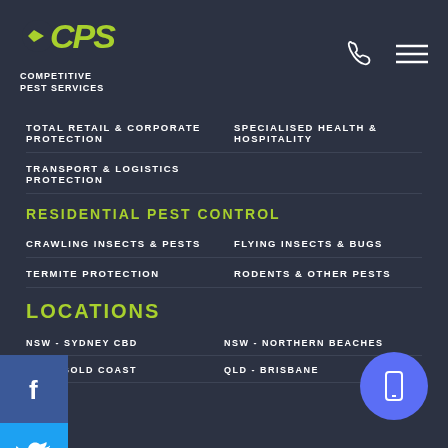[Figure (logo): CPS Competitive Pest Services green logo with phone and menu icons]
TOTAL RETAIL & CORPORATE PROTECTION
SPECIALISED HEALTH & HOSPITALITY
TRANSPORT & LOGISTICS PROTECTION
RESIDENTIAL PEST CONTROL
CRAWLING INSECTS & PESTS
FLYING INSECTS & BUGS
TERMITE PROTECTION
RODENTS & OTHER PESTS
LOCATIONS
NSW - SYDNEY CBD
NSW - NORTHERN BEACHES
QLD - GOLD COAST
QLD - BRISBANE